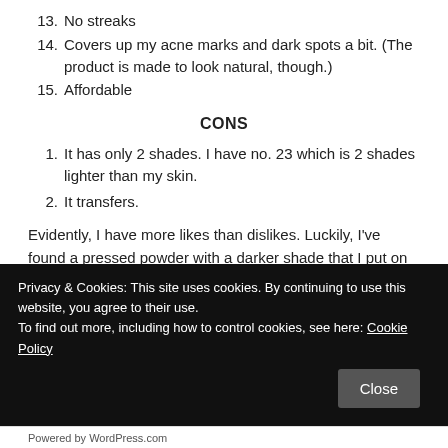13. No streaks
14. Covers up my acne marks and dark spots a bit. (The product is made to look natural, though.)
15. Affordable
CONS
1. It has only 2 shades. I have no. 23 which is 2 shades lighter than my skin.
2. It transfers.
Evidently, I have more likes than dislikes. Luckily, I've found a pressed powder with a darker shade that I put on top of this cushion. I just have to be careful about it transferring onto my
Privacy & Cookies: This site uses cookies. By continuing to use this website, you agree to their use.
To find out more, including how to control cookies, see here: Cookie Policy
Powered by WordPress.com